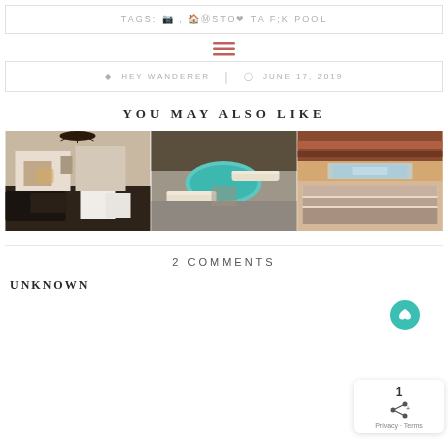TAGS: [instagram] , HOME [pinterest] STO [heart] TA [facebook] K POOL
[Figure (other): Hamburger menu icon in dark rose/red color]
HEY WANDERER | JUNE 17, 2019
YOU MAY ALSO LIKE
[Figure (photo): Three travel/accommodation photos side by side: left - cozy cabin interior with fireplace and dark furniture; center - outdoor patio with lounge chairs around a circular stock tank pool on gravel; right - interior of a van or camper with layered blankets and a view of desert landscape]
2 COMMENTS
UNKNOWN